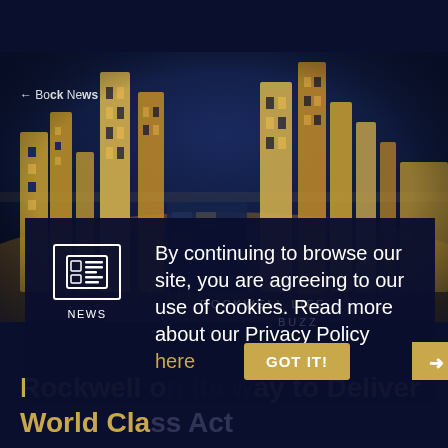[Figure (photo): Aerial night view of a city skyline with illuminated skyscrapers (Rockwell area), fisheye perspective, gold and blue tones]
← Back News
By continuing to browse our site, you are agreeing to our use of cookies. Read more about our Privacy Policy here
NEWS
Rockwell on its way to Deliver World Class Act